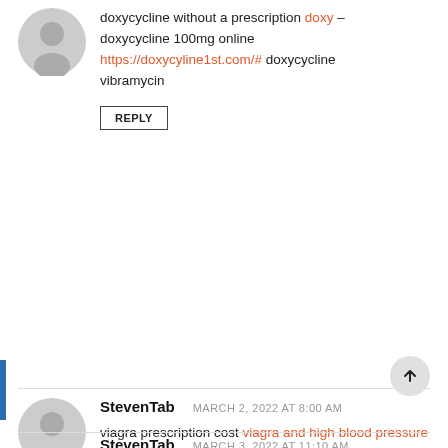doxycycline without a prescription doxy – doxycycline 100mg online https://doxycyline1st.com/# doxycycline vibramycin
REPLY
StevenTab   MARCH 2, 2022 AT 8:00 AM
viagra prescription cost viagra and high blood pressure best place to buy viagra online
REPLY
StevenTab   MARCH 3, 2022 AT 11:10 AM